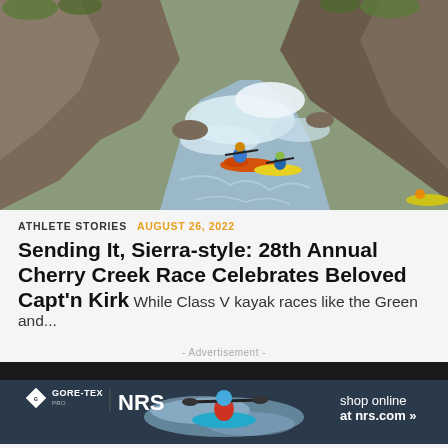[Figure (photo): Aerial view of kayakers navigating a rocky Class V whitewater river in a canyon with dry rocky terrain and sparse green vegetation on hillsides. Two kayakers visible in orange and yellow boats.]
ATHLETE STORIES   AUGUST 26, 2022
Sending It, Sierra-style: 28th Annual Cherry Creek Race Celebrates Beloved Capt'n Kirk While Class V kayak races like the Green and...
- Advertisement -
[Figure (photo): Advertisement banner for GORE-TEX Pro and NRS featuring a kayaker in whitewater. Logo on left, kayaker in center, 'shop online at nrs.com' on right.]